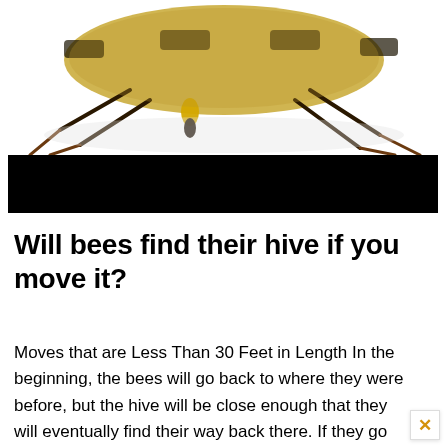[Figure (photo): Close-up photo of a honeybee from below/side showing legs, body and pollen basket on white background, cropped to show bottom portion of bee]
[Figure (other): Black rectangular bar, likely covering article title/header text]
Will bees find their hive if you move it?
Moves that are Less Than 30 Feet in Length In the beginning, the bees will go back to where they were before, but the hive will be close enough that they will eventually find their way back there. If they go on,